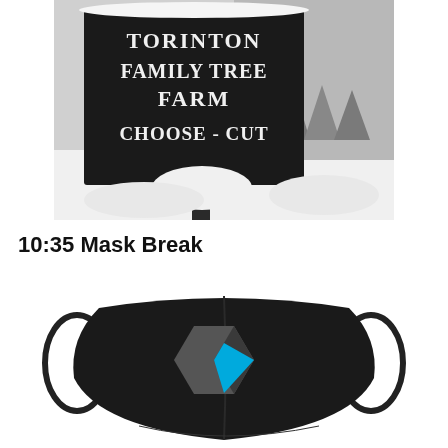[Figure (photo): Black and white photo of a wooden sign reading 'TORINTON FAMILY TREE FARM CHOOSE-CUT' covered in snow, with snow-covered evergreen trees in the background.]
10:35 Mask Break
[Figure (photo): A black face mask with a geometric logo consisting of a grey hexagonal shape and a cyan/blue angular stripe, resembling a tech company logo.]